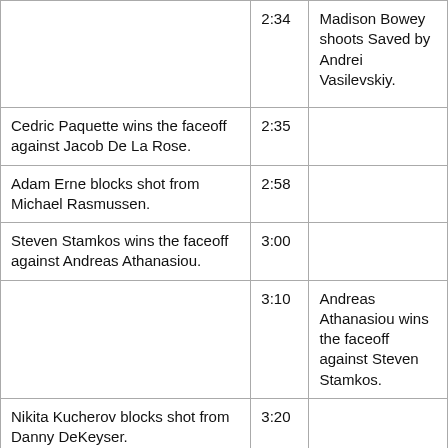|  |  |  |
| --- | --- | --- |
|  | 2:34 | Madison Bowey shoots Saved by Andrei Vasilevskiy. |
| Cedric Paquette wins the faceoff against Jacob De La Rose. | 2:35 |  |
| Adam Erne blocks shot from Michael Rasmussen. | 2:58 |  |
| Steven Stamkos wins the faceoff against Andreas Athanasiou. | 3:00 |  |
|  | 3:10 | Andreas Athanasiou wins the faceoff against Steven Stamkos. |
| Nikita Kucherov blocks shot from Danny DeKeyser. | 3:20 |  |
| Andrei Vasilevskiy penalty for tripping - 2 mins (Minor). Drawn by Tyler Bertuzzi. Served by Nikita | 3:23 |  |